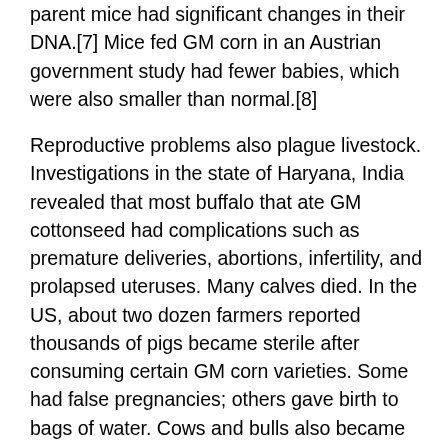parent mice had significant changes in their DNA.[7] Mice fed GM corn in an Austrian government study had fewer babies, which were also smaller than normal.[8]
Reproductive problems also plague livestock. Investigations in the state of Haryana, India revealed that most buffalo that ate GM cottonseed had complications such as premature deliveries, abortions, infertility, and prolapsed uteruses. Many calves died. In the US, about two dozen farmers reported thousands of pigs became sterile after consuming certain GM corn varieties. Some had false pregnancies; others gave birth to bags of water. Cows and bulls also became infertile when fed the same corn.[9]
In the US population, the incidence of low birth